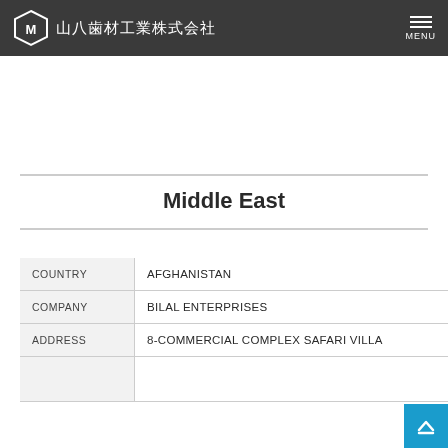山八歯材工業株式会社 MENU
Middle East
|  |  |
| --- | --- |
| COUNTRY | AFGHANISTAN |
| COMPANY | BILAL ENTERPRISES |
| ADDRESS | 8-COMMERCIAL COMPLEX SAFARI VILLA |